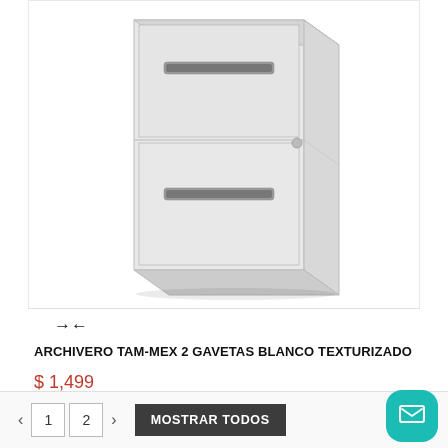[Figure (photo): Light gray metal two-drawer filing cabinet with handle slots on each drawer, shown at a slight angle. The cabinet appears to be a vertical file cabinet (archivero) in a whitish/light gray textured finish.]
→←
ARCHIVERO TAM-MEX 2 GAVETAS BLANCO TEXTURIZADO
$ 1,499
AÑADIR AL CARRITO
< 1 2 > MOSTRAR TODOS